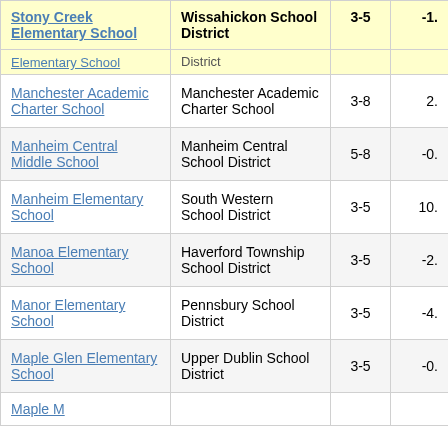| School | District | Grades | Value |
| --- | --- | --- | --- |
| Stony Creek Elementary School | Wissahickon School District | 3-5 | -1. |
| [Elementary School] | District |  |  |
| Manchester Academic Charter School | Manchester Academic Charter School | 3-8 | 2. |
| Manheim Central Middle School | Manheim Central School District | 5-8 | -0. |
| Manheim Elementary School | South Western School District | 3-5 | 10. |
| Manoa Elementary School | Haverford Township School District | 3-5 | -2. |
| Manor Elementary School | Pennsbury School District | 3-5 | -4. |
| Maple Glen Elementary School | Upper Dublin School District | 3-5 | -0. |
| Maple M... |  |  |  |